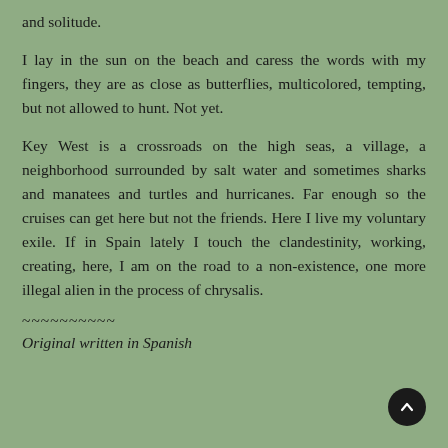and solitude.
I lay in the sun on the beach and caress the words with my fingers, they are as close as butterflies, multicolored, tempting, but not allowed to hunt. Not yet.
Key West is a crossroads on the high seas, a village, a neighborhood surrounded by salt water and sometimes sharks and manatees and turtles and hurricanes. Far enough so the cruises can get here but not the friends. Here I live my voluntary exile. If in Spain lately I touch the clandestinity, working, creating, here, I am on the road to a non-existence, one more illegal alien in the process of chrysalis.
~~~~~~~~~~
Original written in Spanish